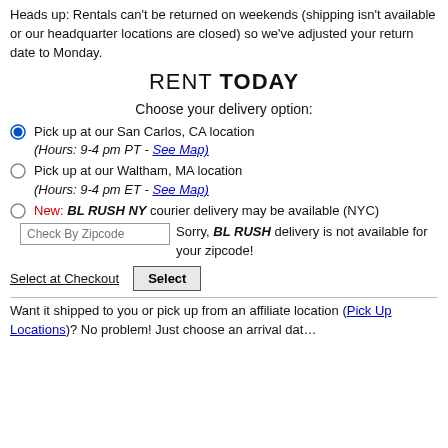Heads up: Rentals can't be returned on weekends (shipping isn't available or our headquarter locations are closed) so we've adjusted your return date to Monday.
RENT TODAY
Choose your delivery option:
Pick up at our San Carlos, CA location (Hours: 9-4 pm PT - See Map)
Pick up at our Waltham, MA location (Hours: 9-4 pm ET - See Map)
New: BL RUSH NY courier delivery may be available (NYC)
Check By Zipcode   Sorry, BL RUSH delivery is not available for your zipcode!
Select at Checkout   Select
Want it shipped to you or pick up from an affiliate location (Pick Up Locations)? No problem! Just choose an arrival dat…